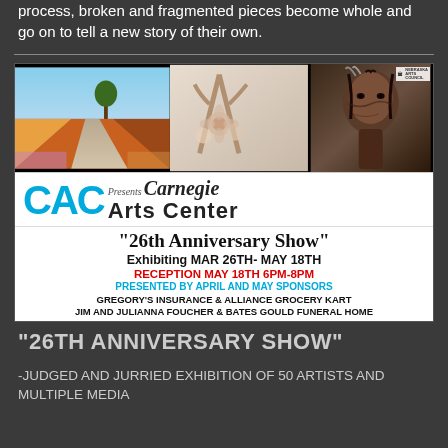process, broken and fragmented pieces become whole and go on to tell a new story of their own.
[Figure (illustration): Carnegie Arts Center 26th Anniversary Show poster. Features three artwork images: a landscape with colorful fields, a floral/antler composition, and a Native American portrait. Includes CAC logo in blue, Carnegie Arts Center text, show title '26th Anniversary Show', exhibiting dates MAR 26TH - MAY 18TH, reception info, sponsor names.]
"26TH ANNIVERSARY SHOW"
-JUDGED AND JURRIED EXHIBITION OF 50 ARTISTS AND MULTIPLE MEDIA